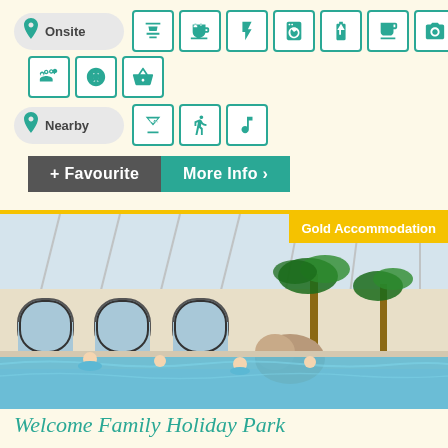[Figure (infographic): Onsite amenities icons: BBQ, cafe/coffee, electric hookup, laundry/service, battery/charging, hairdryer, camera/photo, car parking]
[Figure (infographic): Additional onsite amenity icons: pets allowed, sports/football, shopping basket]
[Figure (infographic): Nearby amenities icons: bar/cocktail, beach/water, entertainment/music]
+ Favourite
More Info >
Gold Accommodation
[Figure (photo): Indoor swimming pool with glass roof, palm trees, and people swimming]
Welcome Family Holiday Park